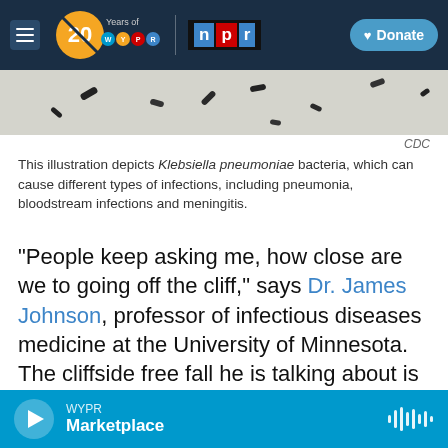[Figure (screenshot): WYPR 20 Years logo, NPR logo, and Donate button navigation bar on dark blue background]
[Figure (photo): Microscope illustration of Klebsiella pneumoniae bacteria — dark rod-shaped organisms on a light grey background]
CDC
This illustration depicts Klebsiella pneumoniae bacteria, which can cause different types of infections, including pneumonia, bloodstream infections and meningitis.
"People keep asking me, how close are we to going off the cliff," says Dr. James Johnson, professor of infectious diseases medicine at the University of Minnesota. The cliffside free fall he is talking about is the day that drug-resistant bacteria will be able to outfox the world's entire arsenal of antibiotics. Common infections would then become
WYPR Marketplace